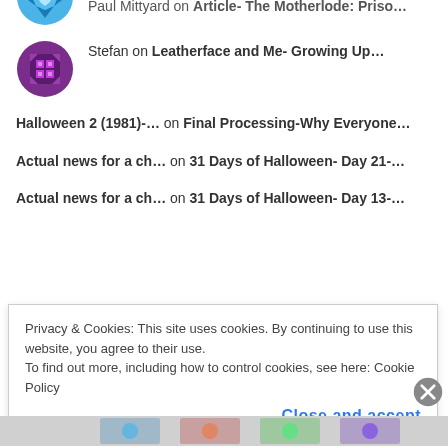Paul Mittyard on Article- The Motherlode: Priso...
Stefan on Leatherface and Me- Growing Up...
Halloween 2 (1981)-... on Final Processing-Why Everyone...
Actual news for a ch... on 31 Days of Halloween- Day 21-...
Actual news for a ch... on 31 Days of Halloween- Day 13-...
Archives
Privacy & Cookies: This site uses cookies. By continuing to use this website, you agree to their use.
To find out more, including how to control cookies, see here: Cookie Policy
Close and accept